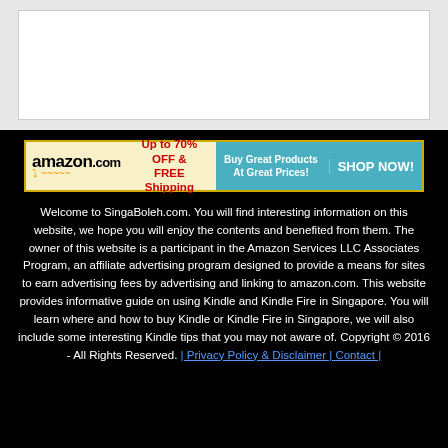[Figure (other): White content box on light gray background (top section placeholder)]
[Figure (other): Amazon.com affiliate advertisement banner: 'Up to 70% OFF & FREE Shipping. Buy Great Products At Great Prices! SHOP NOW!']
Welcome to SingaBoleh.com. You will find interesting information on this website, we hope you will enjoy the contents and benefited from them. The owner of this website is a participant in the Amazon Services LLC Associates Program, an affiliate advertising program designed to provide a means for sites to earn advertising fees by advertising and linking to amazon.com. This website provides informative guide on using Kindle and Kindle Fire in Singapore. You will learn where and how to buy Kindle or Kindle Fire in Singapore, we will also include some interesting Kindle tips that you may not aware of. Copyright © 2016 - All Rights Reserved. | Privacy Policy & Disclaimer | Contact |